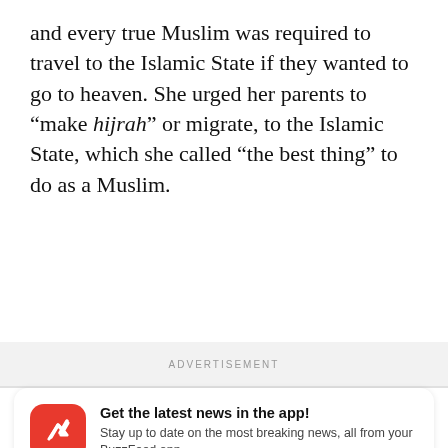and every true Muslim was required to travel to the Islamic State if they wanted to go to heaven. She urged her parents to “make hijrah” or migrate, to the Islamic State, which she called “the best thing” to do as a Muslim.
ADVERTISEMENT
[Figure (infographic): BuzzFeed app notification prompt with red circular BuzzFeed logo with white arrow, title 'Get the latest news in the app!', body text 'Stay up to date on the most breaking news, all from your BuzzFeed app.', 'Maybe later' link and 'Get the app' blue button.]